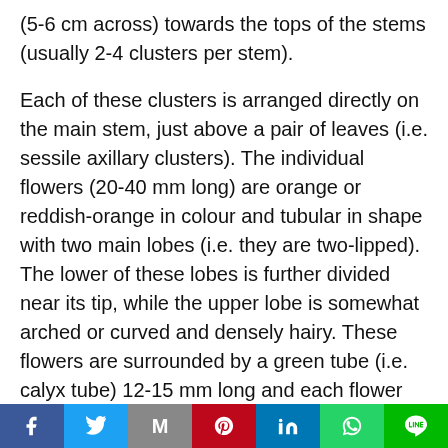(5-6 cm across) towards the tops of the stems (usually 2-4 clusters per stem).

Each of these clusters is arranged directly on the main stem, just above a pair of leaves (i.e. sessile axillary clusters). The individual flowers (20-40 mm long) are orange or reddish-orange in colour and tubular in shape with two main lobes (i.e. they are two-lipped). The lower of these lobes is further divided near its tip, while the upper lobe is somewhat arched or curved and densely hairy. These flowers are surrounded by a green tube (i.e. calyx tube) 12-15 mm long and each flower also has two elongated (i.e. lanceolate) and pointed
Social share bar: Facebook, Twitter, Gmail, Pinterest, LinkedIn, WhatsApp, Line